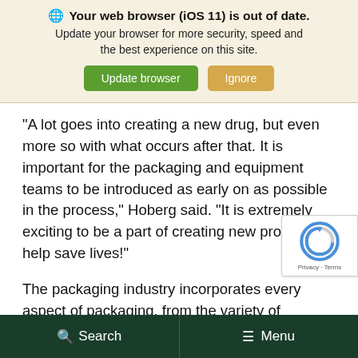[Figure (screenshot): Browser update notification banner with globe icon, title 'Your web browser (iOS 11) is out of date.', subtitle text, and two buttons: 'Update browser' (green) and 'Ignore' (tan/orange)]
“A lot goes into creating a new drug, but even more so with what occurs after that. It is important for the packaging and equipment teams to be introduced as early on as possible in the process,” Hoberg said. “It is extremely exciting to be a part of creating new products to help save lives!”
The packaging industry incorporates every aspect of packaging, from the variety of
Search   Menu